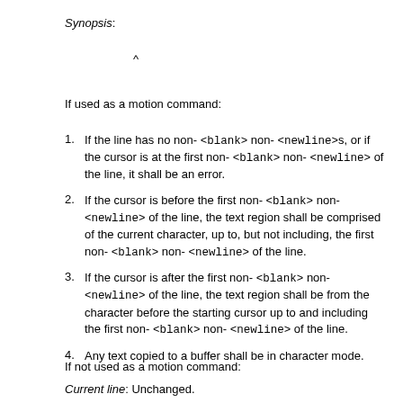Synopsis:
^
If used as a motion command:
1. If the line has no non- <blank> non- <newline>s, or if the cursor is at the first non- <blank> non- <newline> of the line, it shall be an error.
2. If the cursor is before the first non- <blank> non- <newline> of the line, the text region shall be comprised of the current character, up to, but not including, the first non- <blank> non- <newline> of the line.
3. If the cursor is after the first non- <blank> non- <newline> of the line, the text region shall be from the character before the starting cursor up to and including the first non- <blank> non- <newline> of the line.
4. Any text copied to a buffer shall be in character mode.
If not used as a motion command:
Current line: Unchanged.